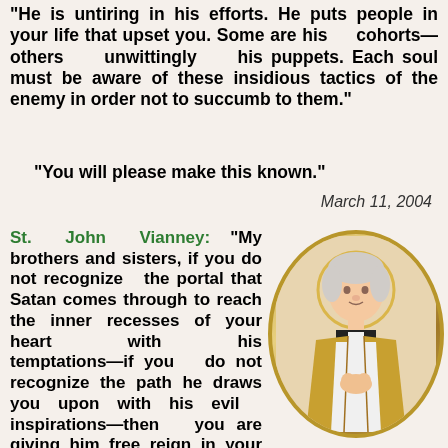"He is untiring in his efforts. He puts people in your life that upset you. Some are his cohorts—others unwittingly his puppets. Each soul must be aware of these insidious tactics of the enemy in order not to succumb to them."
"You will please make this known."
March 11, 2004
[Figure (illustration): Portrait of St. John Vianney in an oval gold-bordered frame, depicted as a priest in white and gold vestments with hands clasped in prayer, white hair, with a halo]
St. John Vianney: "My brothers and sisters, if you do not recognize the portal that Satan comes through to reach the inner recesses of your heart with his temptations—if you do not recognize the path he draws you upon with his evil inspirations—then you are giving him free reign in your hearts and